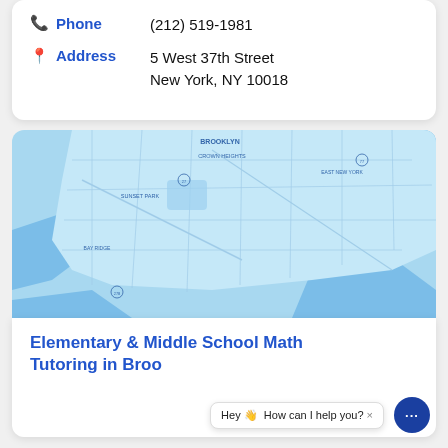Phone: (212) 519-1981
Address: 5 West 37th Street
New York, NY 10018
[Figure (map): Map of Brooklyn, NY area showing neighborhoods including Brooklyn, Crown Heights, East New York, Sunset Park, Bay Ridge, rendered in light blue tones.]
Elementary & Middle School Math Tutoring in Broo...
Hey 👋 How can I help you? ×